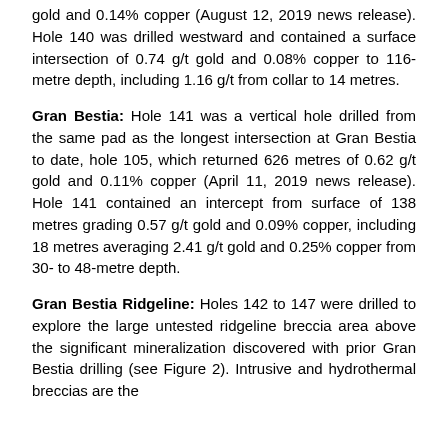gold and 0.14% copper (August 12, 2019 news release). Hole 140 was drilled westward and contained a surface intersection of 0.74 g/t gold and 0.08% copper to 116-metre depth, including 1.16 g/t from collar to 14 metres.
Gran Bestia: Hole 141 was a vertical hole drilled from the same pad as the longest intersection at Gran Bestia to date, hole 105, which returned 626 metres of 0.62 g/t gold and 0.11% copper (April 11, 2019 news release). Hole 141 contained an intercept from surface of 138 metres grading 0.57 g/t gold and 0.09% copper, including 18 metres averaging 2.41 g/t gold and 0.25% copper from 30- to 48-metre depth.
Gran Bestia Ridgeline: Holes 142 to 147 were drilled to explore the large untested ridgeline breccia area above the significant mineralization discovered with prior Gran Bestia drilling (see Figure 2). Intrusive and hydrothermal breccias are the